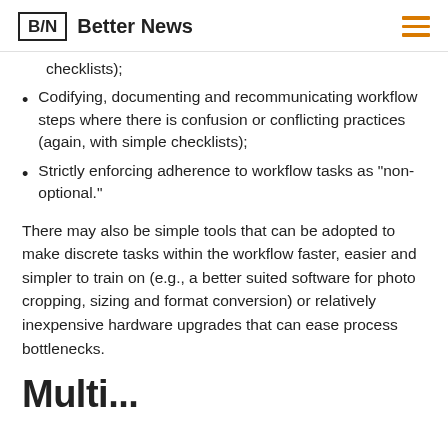B/N  Better News
checklists);
Codifying, documenting and recommunicating workflow steps where there is confusion or conflicting practices (again, with simple checklists);
Strictly enforcing adherence to workflow tasks as “non-optional.”
There may also be simple tools that can be adopted to make discrete tasks within the workflow faster, easier and simpler to train on (e.g., a better suited software for photo cropping, sizing and format conversion) or relatively inexpensive hardware upgrades that can ease process bottlenecks.
Multi...